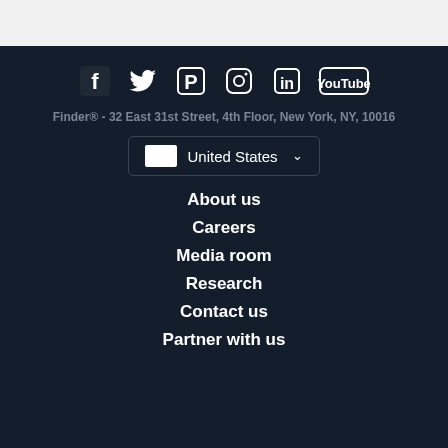[Figure (other): Social media icons row: Facebook, Twitter, Pinterest, Instagram, LinkedIn, YouTube]
Finder® -  32 East 31st Street, 4th Floor, New York, NY, 10016
[Figure (other): Country selector dropdown showing United States with flag]
About us
Careers
Media room
Research
Contact us
Partner with us